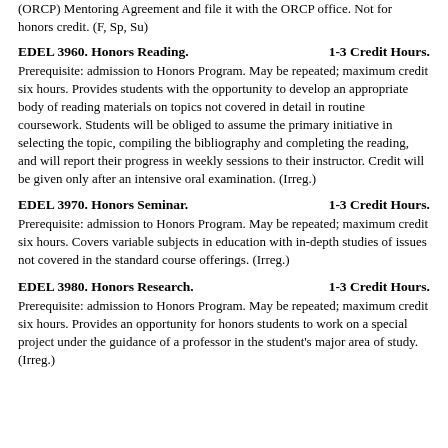(ORCP) Mentoring Agreement and file it with the ORCP office. Not for honors credit. (F, Sp, Su)
EDEL 3960. Honors Reading.   1-3 Credit Hours.
Prerequisite: admission to Honors Program. May be repeated; maximum credit six hours. Provides students with the opportunity to develop an appropriate body of reading materials on topics not covered in detail in routine coursework. Students will be obliged to assume the primary initiative in selecting the topic, compiling the bibliography and completing the reading, and will report their progress in weekly sessions to their instructor. Credit will be given only after an intensive oral examination. (Irreg.)
EDEL 3970. Honors Seminar.   1-3 Credit Hours.
Prerequisite: admission to Honors Program. May be repeated; maximum credit six hours. Covers variable subjects in education with in-depth studies of issues not covered in the standard course offerings. (Irreg.)
EDEL 3980. Honors Research.   1-3 Credit Hours.
Prerequisite: admission to Honors Program. May be repeated; maximum credit six hours. Provides an opportunity for honors students to work on a special project under the guidance of a professor in the student's major area of study. (Irreg.)